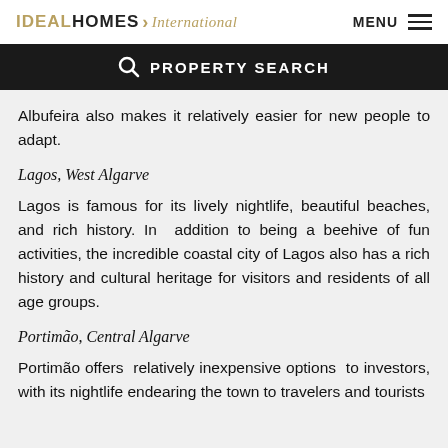IDEALHOMES International | MENU
PROPERTY SEARCH
Albufeira also makes it relatively easier for new people to adapt.
Lagos, West Algarve
Lagos is famous for its lively nightlife, beautiful beaches, and rich history. In addition to being a beehive of fun activities, the incredible coastal city of Lagos also has a rich history and cultural heritage for visitors and residents of all age groups.
Portimão, Central Algarve
Portimão offers relatively inexpensive options to investors, with its nightlife endearing the town to travelers and tourists